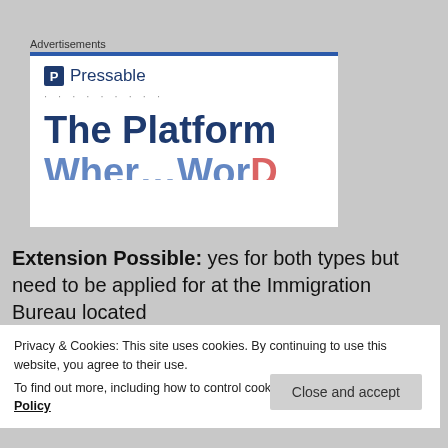[Figure (screenshot): Advertisement box for Pressable hosting service showing logo, dots, and 'The Platform' headline in dark blue on white background with blue top border]
Extension Possible: yes for both types but need to be applied for at the Immigration Bureau located
Privacy & Cookies: This site uses cookies. By continuing to use this website, you agree to their use.
To find out more, including how to control cookies, see here: Cookie Policy
Close and accept